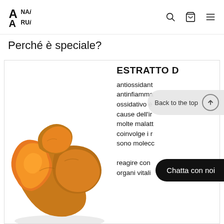ANAi ARUi (logo) — navigation icons: search, cart, menu
Perché è speciale?
[Figure (photo): Photo of turmeric root pieces showing orange interior, arranged on white background]
ESTRATTO D... antiossidant antinfiamma ossidativo è cause dell'ir molte malatt coinvolge i r sono moleco reagire con organi vitali
Back to the top
Chatta con noi